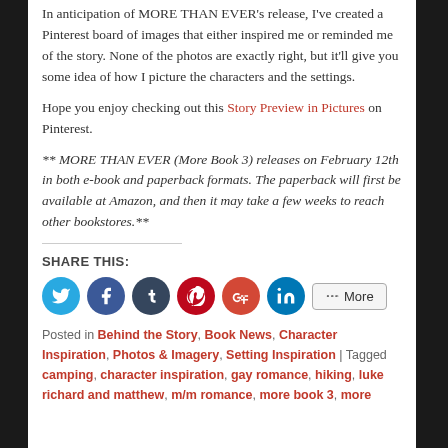In anticipation of MORE THAN EVER's release, I've created a Pinterest board of images that either inspired me or reminded me of the story. None of the photos are exactly right, but it'll give you some idea of how I picture the characters and the settings.
Hope you enjoy checking out this Story Preview in Pictures on Pinterest.
** MORE THAN EVER (More Book 3) releases on February 12th in both e-book and paperback formats. The paperback will first be available at Amazon, and then it may take a few weeks to reach other bookstores.**
SHARE THIS:
[Figure (infographic): Social media share buttons: Twitter (blue), Facebook (dark blue), Tumblr (dark blue-gray), Pinterest (red), Google+ (red-orange), LinkedIn (blue), and a More button]
Posted in Behind the Story, Book News, Character Inspiration, Photos & Imagery, Setting Inspiration | Tagged camping, character inspiration, gay romance, hiking, luke richard and matthew, m/m romance, more book 3, more